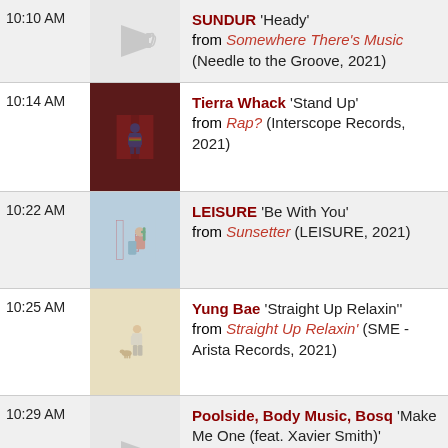10:10 AM — SUNDUR 'Heady' from Somewhere There's Music (Needle to the Groove, 2021)
10:14 AM — Tierra Whack 'Stand Up' from Rap? (Interscope Records, 2021)
10:22 AM — LEISURE 'Be With You' from Sunsetter (LEISURE, 2021)
10:25 AM — Yung Bae 'Straight Up Relaxin'' from Straight Up Relaxin' (SME - Arista Records, 2021)
10:29 AM — Poolside, Body Music, Bosq 'Make Me One (feat. Xavier Smith)' from Make Me One (feat. Xavier Smith) (Pacific Standard Records, 2021)